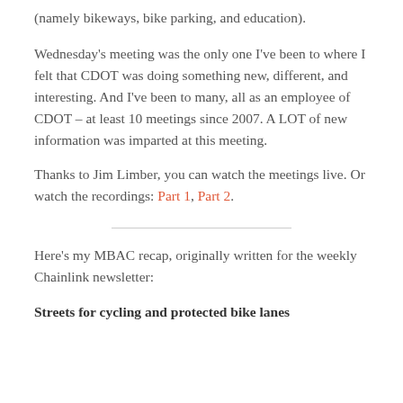(namely bikeways, bike parking, and education).
Wednesday's meeting was the only one I've been to where I felt that CDOT was doing something new, different, and interesting. And I've been to many, all as an employee of CDOT – at least 10 meetings since 2007. A LOT of new information was imparted at this meeting.
Thanks to Jim Limber, you can watch the meetings live. Or watch the recordings: Part 1, Part 2.
Here's my MBAC recap, originally written for the weekly Chainlink newsletter:
Streets for cycling and protected bike lanes